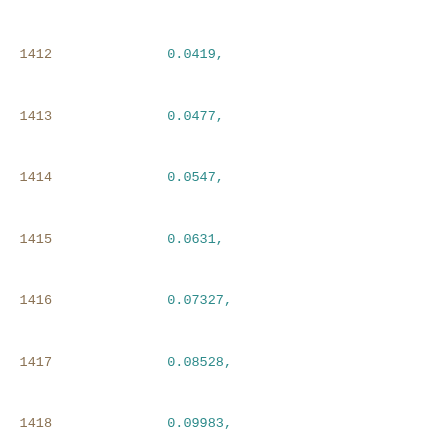Code listing showing array data lines 1412-1432 with numeric values